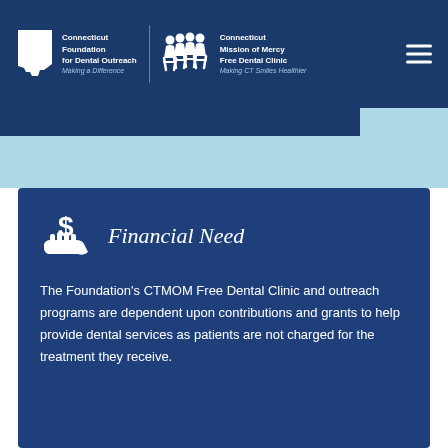[Figure (logo): Connecticut Foundation for Dental Outreach logo with CT state shape and text: Connecticut Foundation for Dental Outreach, Making a Difference]
[Figure (logo): Connecticut Mission of Mercy Free Dental Clinic logo with people icons and text: Connecticut Mission of Mercy Free Dental Clinic, Making CT Smiles Healthier]
Financial Need
The Foundation's CTMOM Free Dental Clinic and outreach programs are dependent upon contributions and grants to help provide dental services as patients are not charged for the treatment they receive.